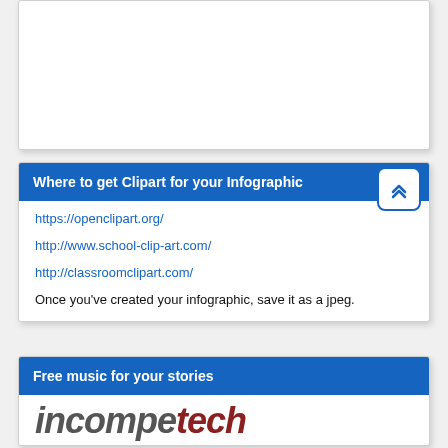[Figure (other): White card area, largely empty, top of page]
Where to get Clipart for your Infographic
https://openclipart.org/
http://www.school-clip-art.com/
http://classroomclipart.com/
Once you've created your infographic, save it as a jpeg.
Free music for your stories
[Figure (logo): incompetech logo text in gray and dark red italic bold font]